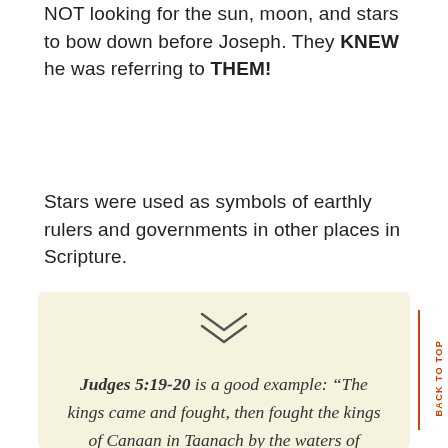NOT looking for the sun, moon, and stars to bow down before Joseph. They KNEW he was referring to THEM!
Stars were used as symbols of earthly rulers and governments in other places in Scripture.
Judges 5:19-20 is a good example: “The kings came and fought, then fought the kings of Canaan in Taanach by the waters of Megiddo; they took no gain of money. They fought from heaven; the stars in their courses fought